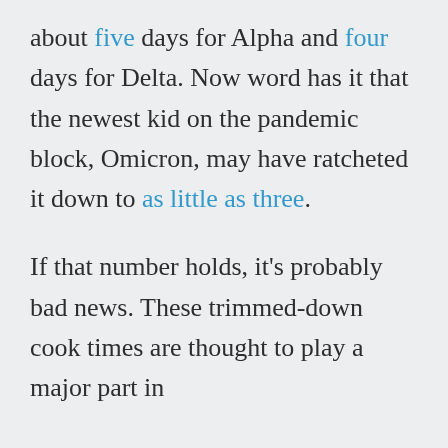about five days for Alpha and four days for Delta. Now word has it that the newest kid on the pandemic block, Omicron, may have ratcheted it down to as little as three. If that number holds, it's probably bad news. These trimmed-down cook times are thought to play a major part in